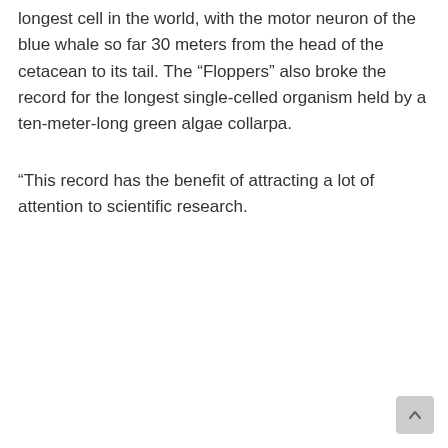longest cell in the world, with the motor neuron of the blue whale so far 30 meters from the head of the cetacean to its tail. The “Floppers” also broke the record for the longest single-celled organism held by a ten-meter-long green algae collarpa.
“This record has the benefit of attracting a lot of attention to scientific research.